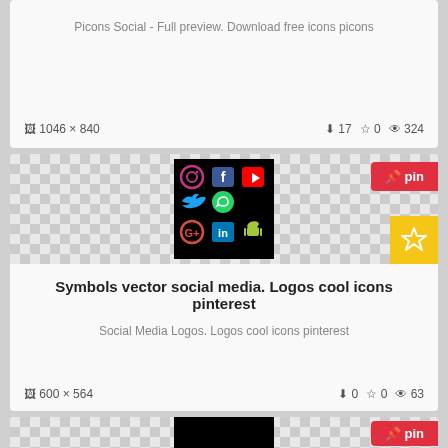Picons Social - Full preview. Download free icons picons
1046 × 840   ↓ 17  ☆ 0  👁 324
[Figure (illustration): Social media icons grid on black background: Instagram, Facebook, YouTube, Twitter, WhatsApp, Google+, LinkedIn, Android]
Symbols vector social media. Logos cool icons pinterest
Social Media Logos. Logos cool icons pinterest
600 × 564   ↓ 0  ☆ 0  👁 63
[Figure (illustration): Partial view of another card with checkered background and black image area, pin button visible]